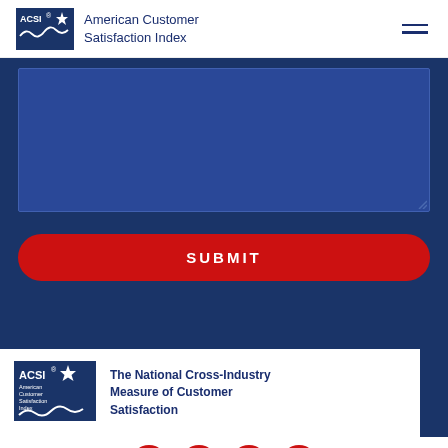ACSI American Customer Satisfaction Index
[Figure (screenshot): Blue textarea input field on dark blue background]
[Figure (screenshot): Red SUBMIT button with rounded corners on dark blue background]
[Figure (logo): ACSI American Customer Satisfaction Index logo in footer]
The National Cross-Industry Measure of Customer Satisfaction
[Figure (infographic): Social media icons: Facebook, Twitter, LinkedIn, BBB in red circles]